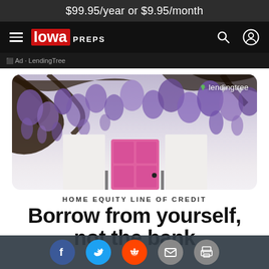$99.95/year or $9.95/month
[Figure (logo): Iowa Preps navigation bar with hamburger menu, Iowa Preps logo, search and account icons]
Ad · LendingTree
[Figure (photo): LendingTree advertisement image showing a house with a pink door and purple wisteria flowers, with the LendingTree logo in the top right corner]
HOME EQUITY LINE OF CREDIT
Borrow from yourself, not the bank
Social sharing bar with Facebook, Twitter, Reddit, Email, and Print buttons